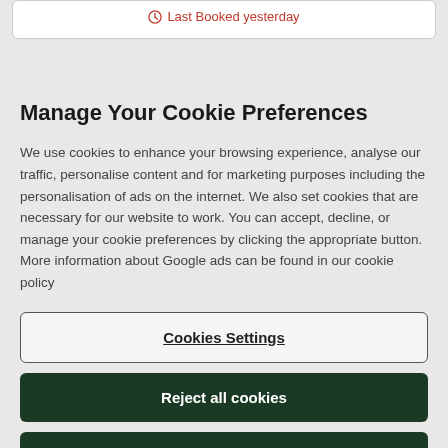Last Booked yesterday
Manage Your Cookie Preferences
We use cookies to enhance your browsing experience, analyse our traffic, personalise content and for marketing purposes including the personalisation of ads on the internet. We also set cookies that are necessary for our website to work. You can accept, decline, or manage your cookie preferences by clicking the appropriate button. More information about Google ads can be found in our cookie policy
Cookies Settings
Reject all cookies
Accept all cookies